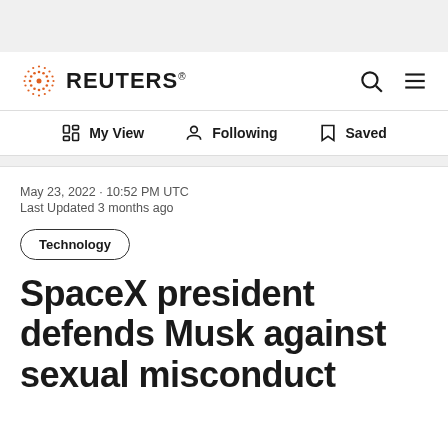[Figure (logo): Reuters logo with orange dot circle and REUTERS wordmark]
My View  Following  Saved
May 23, 2022 · 10:52 PM UTC
Last Updated 3 months ago
Technology
SpaceX president defends Musk against sexual misconduct